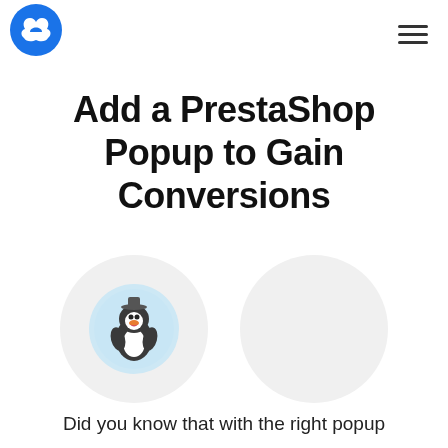Popup Smart logo and navigation
Add a PrestaShop Popup to Gain Conversions
[Figure (illustration): Two circular avatar/icon placeholders side by side. Left circle contains a PrestaShop penguin mascot icon on a light blue background. Right circle is an empty light gray circle.]
Did you know that with the right popup